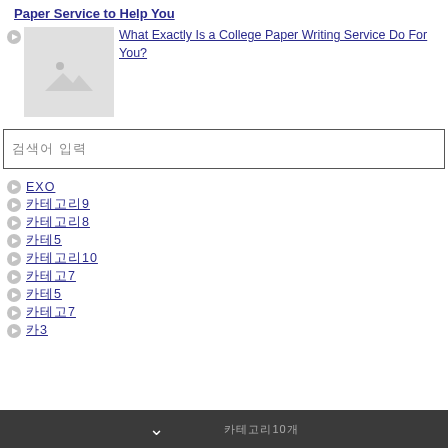Paper Service to Help You
[Figure (photo): Placeholder thumbnail image with mountain/image icon]
What Exactly Is a College Paper Writing Service Do For You?
검색어 입력
EXO
카테고리9
카테고리8
카테고리5
카테고리10
카테고리7
카테고리5
카테고리7
카3
카테고리10개